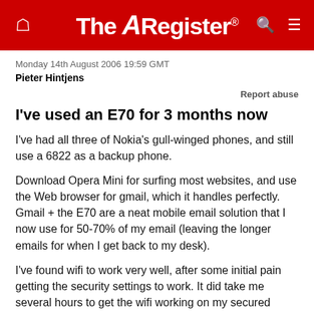The Register
Monday 14th August 2006 19:59 GMT
Pieter Hintjens
Report abuse
I've used an E70 for 3 months now
I've had all three of Nokia's gull-winged phones, and still use a 6822 as a backup phone.
Download Opera Mini for surfing most websites, and use the Web browser for gmail, which it handles perfectly. Gmail + the E70 are a neat mobile email solution that I now use for 50-70% of my email (leaving the longer emails for when I get back to my desk).
I've found wifi to work very well, after some initial pain getting the security settings to work. It did take me several hours to get the wifi working on my secured access point but once it worked, it was flawless. And surfing open wifi points is a cinch.